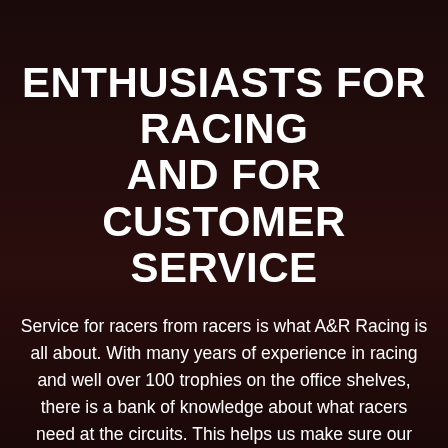ENTHUSIASTS FOR RACING AND FOR CUSTOMER SERVICE
Service for racers from racers is what A&R Racing is all about. With many years of experience in racing and well over 100 trophies on the office shelves, there is a bank of knowledge about what racers need at the circuits. This helps us make sure our paddock truck is always well stocked with just about everything you will need to keep your race bike running smoothly throughout the meeting.
You will often find Alan changing tyres well into the night to make sure that all our customers have the setup they need to make the most of their racing.